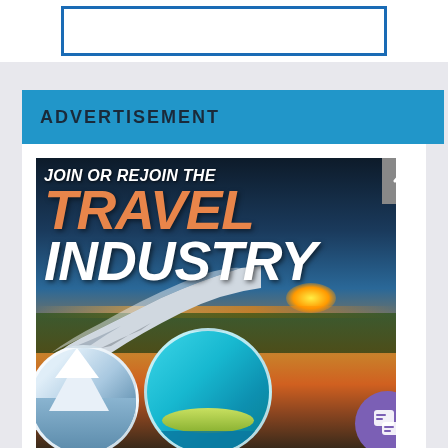[Figure (other): Top bar with white background and blue-bordered rectangle placeholder]
ADVERTISEMENT
[Figure (illustration): Travel industry advertisement showing airplane wing at sunset with text 'JOIN OR REJOIN THE TRAVEL INDUSTRY'. Bottom contains circular thumbnail images of travel destinations. A scroll-to-top arrow button and purple chat button are visible on the right side.]